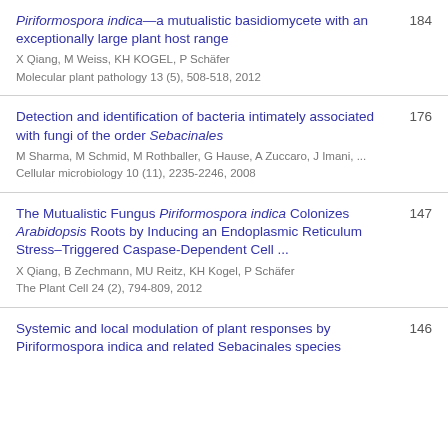Piriformospora indica—a mutualistic basidiomycete with an exceptionally large plant host range
X Qiang, M Weiss, KH KOGEL, P Schäfer
Molecular plant pathology 13 (5), 508-518, 2012
184
Detection and identification of bacteria intimately associated with fungi of the order Sebacinales
M Sharma, M Schmid, M Rothballer, G Hause, A Zuccaro, J Imani, ...
Cellular microbiology 10 (11), 2235-2246, 2008
176
The Mutualistic Fungus Piriformospora indica Colonizes Arabidopsis Roots by Inducing an Endoplasmic Reticulum Stress–Triggered Caspase-Dependent Cell ...
X Qiang, B Zechmann, MU Reitz, KH Kogel, P Schäfer
The Plant Cell 24 (2), 794-809, 2012
147
Systemic and local modulation of plant responses by Piriformospora indica and related Sebacinales species
146